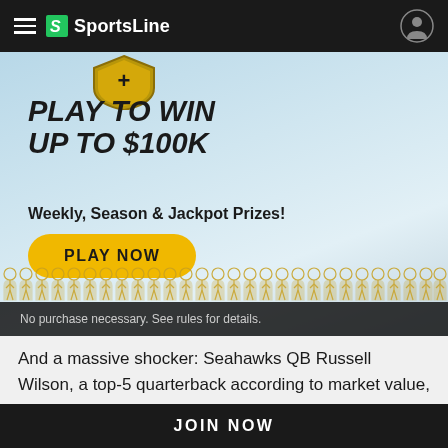SportsLine
[Figure (infographic): SportsLine promotional banner: Play to Win Up to $100K, Weekly, Season & Jackpot Prizes! with a Play Now button and decorative fantasy football player icons along the bottom. No purchase necessary. See rules for details.]
And a massive shocker: Seahawks QB Russell Wilson, a top-5 quarterback according to market value, stumbles big-time this week against Denver and finishes outside the
JOIN NOW